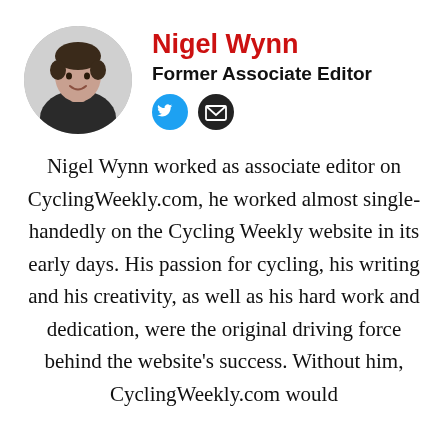[Figure (photo): Circular portrait photo of Nigel Wynn, a man in a dark jacket, shown in black and white]
Nigel Wynn
Former Associate Editor
[Figure (infographic): Twitter bird icon (blue circle) and email envelope icon (black circle) — social media links]
Nigel Wynn worked as associate editor on CyclingWeekly.com, he worked almost single-handedly on the Cycling Weekly website in its early days. His passion for cycling, his writing and his creativity, as well as his hard work and dedication, were the original driving force behind the website's success. Without him, CyclingWeekly.com would